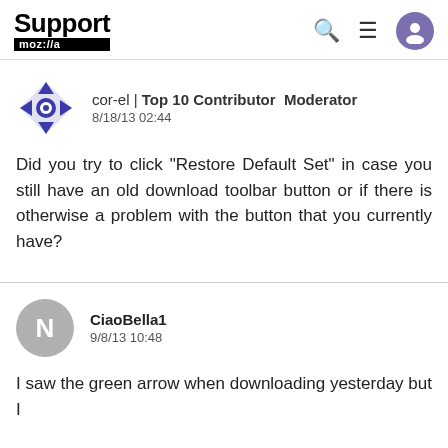Support mozilla
cor-el | Top 10 Contributor Moderator
8/18/13 02:44
Did you try to click "Restore Default Set" in case you still have an old download toolbar button or if there is otherwise a problem with the button that you currently have?
CiaoBella1
9/8/13 10:48
I saw the green arrow when downloading yesterday but I